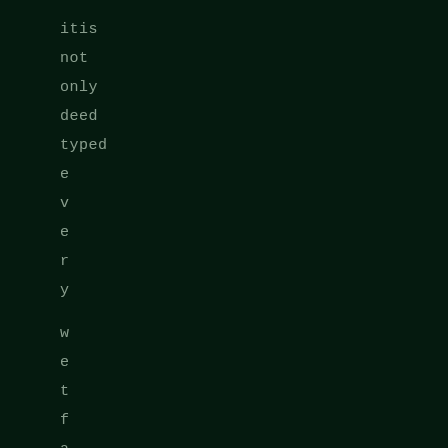itis
not
only
deed
typed
e
v
e
r
y

w
e
t
f
a
r
t

e
a